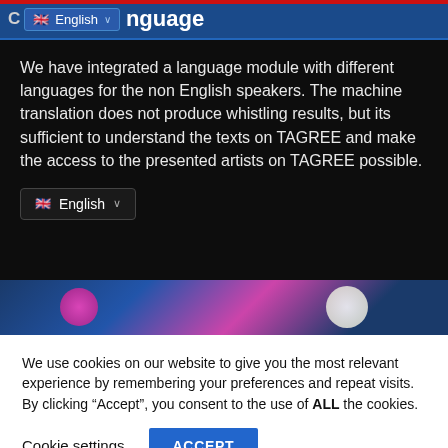[Figure (screenshot): Navigation bar with English language dropdown selector on dark blue background with red top bar and 'language' text]
We have integrated a language module with different languages for the non English speakers. The machine translation does not produce whistling results, but its sufficient to understand the texts on TAGREE and make the access to the presented artists on TAGREE possible.
[Figure (screenshot): English language dropdown selector widget on dark background]
[Figure (photo): Colorful artwork strip showing pink and white circular shapes on blue background]
We use cookies on our website to give you the most relevant experience by remembering your preferences and repeat visits. By clicking “Accept”, you consent to the use of ALL the cookies.
Cookie settings   ACCEPT